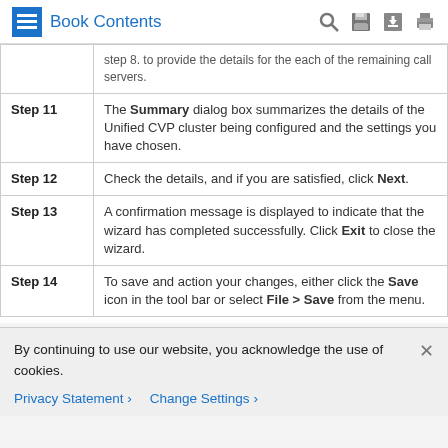Book Contents
| Step | Description |
| --- | --- |
| (continued) | step 8. to provide the details for the each of the remaining call servers. |
| Step 11 | The Summary dialog box summarizes the details of the Unified CVP cluster being configured and the settings you have chosen. |
| Step 12 | Check the details, and if you are satisfied, click Next. |
| Step 13 | A confirmation message is displayed to indicate that the wizard has completed successfully. Click Exit to close the wizard. |
| Step 14 | To save and action your changes, either click the Save icon in the tool bar or select File > Save from the menu. |
By continuing to use our website, you acknowledge the use of cookies.
Privacy Statement > Change Settings >